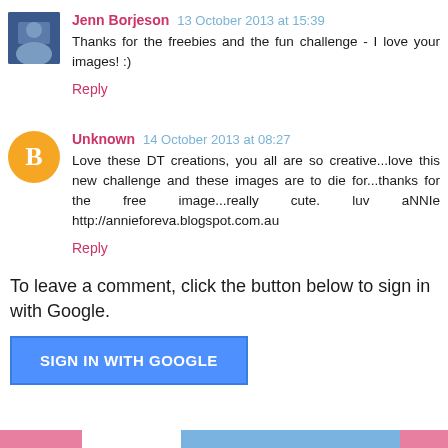Jenn Borjeson  13 October 2013 at 15:39
Thanks for the freebies and the fun challenge - I love your images! :)
Reply
Unknown  14 October 2013 at 08:27
Love these DT creations, you all are so creative...love this new challenge and these images are to die for...thanks for the free image...really cute. luv aNNIe http://annieforeva.blogspot.com.au
Reply
To leave a comment, click the button below to sign in with Google.
SIGN IN WITH GOOGLE